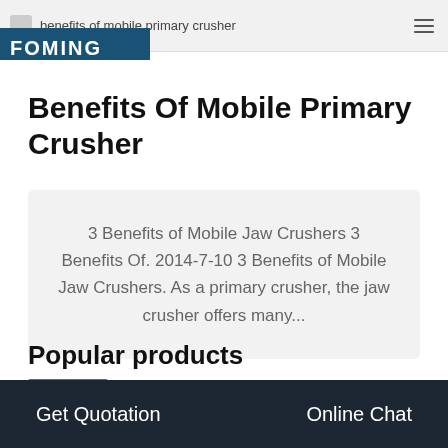benefits of mobile primary crusher
Benefits Of Mobile Primary Crusher
3 Benefits of Mobile Jaw Crushers 3 Benefits Of. 2014-7-10 3 Benefits of Mobile Jaw Crushers. As a primary crusher, the jaw crusher offers many...
Popular products
Get Quotation    Online Chat